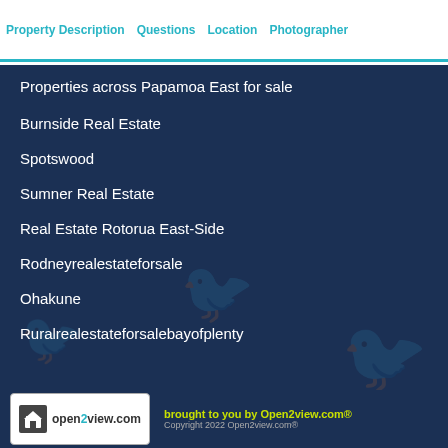Property Description   Questions   Location   Photographer
Properties across Papamoa East for sale
Burnside Real Estate
Spotswood
Sumner Real Estate
Real Estate Rotorua East-Side
Rodneyrealestateforsale
Ohakune
Ruralrealestateforsalebayofplenty
open2view.com   brought to you by Open2view.com®   Copyright 2022 Open2view.com®